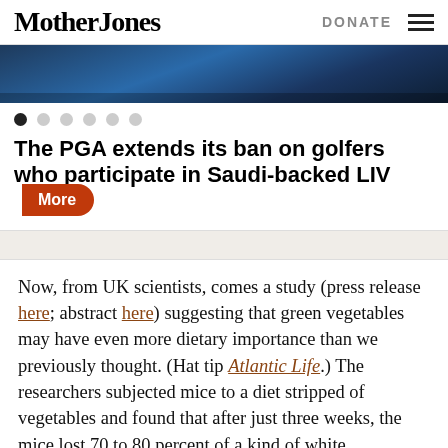Mother Jones | DONATE
[Figure (photo): Partial hero image showing a dark blue background, appears to be a person or vehicle scene]
The PGA extends its ban on golfers who participate in Saudi-backed LIV
Now, from UK scientists, comes a study (press release here; abstract here) suggesting that green vegetables may have even more dietary importance than we previously thought. (Hat tip Atlantic Life.) The researchers subjected mice to a diet stripped of vegetables and found that after just three weeks, the mice lost 70 to 80 percent of a kind of white